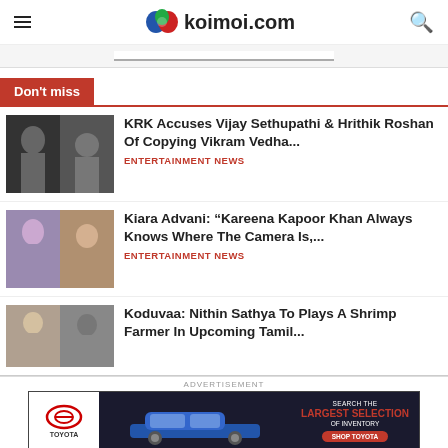koimoi.com
[Figure (screenshot): Koimoi.com website header with hamburger menu, logo, and search icon]
Don't miss
KRK Accuses Vijay Sethupathi & Hrithik Roshan Of Copying Vikram Vedha... ENTERTAINMENT NEWS
Kiara Advani: "Kareena Kapoor Khan Always Knows Where The Camera Is,... ENTERTAINMENT NEWS
Koduvaa: Nithin Sathya To Plays A Shrimp Farmer In Upcoming Tamil...
[Figure (screenshot): Toyota advertisement - Search the Largest Selection of Inventory, Shop Toyota]